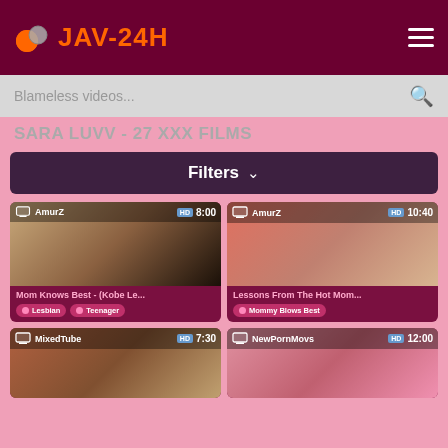JAV-24H
Blameless videos...
SARA LUVV - 27 XXX FILMS
Filters
[Figure (screenshot): Video thumbnail 1: Mom Knows Best - (Kobe Le... | AmurZ | HD | 8:00 | Tags: Lesbian, Teenager]
[Figure (screenshot): Video thumbnail 2: Lessons From The Hot Mom... | AmurZ | HD | 10:40 | Tags: Mommy Blows Best]
[Figure (screenshot): Video thumbnail 3: MixedTube | HD | 7:30]
[Figure (screenshot): Video thumbnail 4: NewPornMovs | HD | 12:00]